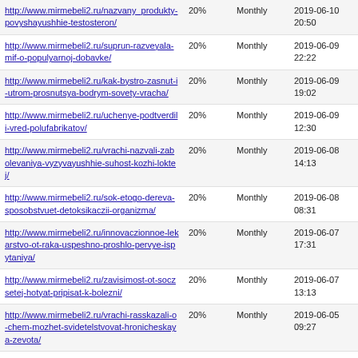| URL | Priority | Change Frequency | Last Modified |
| --- | --- | --- | --- |
| http://www.mirmebeli2.ru/nazvany_produkty-povyshayushhie-testosteron/ | 20% | Monthly | 2019-06-10 20:50 |
| http://www.mirmebeli2.ru/suprun-razveyala-mif-o-populyarnoj-dobavke/ | 20% | Monthly | 2019-06-09 22:22 |
| http://www.mirmebeli2.ru/kak-bystro-zasnut-i-utrom-prosnutsya-bodrym-sovety-vracha/ | 20% | Monthly | 2019-06-09 19:02 |
| http://www.mirmebeli2.ru/uchenye-podtverdili-vred-polufabrikatov/ | 20% | Monthly | 2019-06-09 12:30 |
| http://www.mirmebeli2.ru/vrachi-nazvali-zabolevaniya-vyzyvayushhie-suhost-kozhi-loktej/ | 20% | Monthly | 2019-06-08 14:13 |
| http://www.mirmebeli2.ru/sok-etogo-dereva-sposobstvuet-detoksikaczii-organizma/ | 20% | Monthly | 2019-06-08 08:31 |
| http://www.mirmebeli2.ru/innovaczionnoe-lekarstvo-ot-raka-uspeshno-proshlo-pervye-ispytaniya/ | 20% | Monthly | 2019-06-07 17:31 |
| http://www.mirmebeli2.ru/zavisimost-ot-soczsetej-hotyat-pripisat-k-bolezni/ | 20% | Monthly | 2019-06-07 13:13 |
| http://www.mirmebeli2.ru/vrachi-rasskazali-o-chem-mozhet-svidetelstvovat-hronicheskaya-zevota/ | 20% | Monthly | 2019-06-05 09:27 |
| http://www.mirmebeli2.ru/mediki-podskazali-kak-luchshe-vsego-ukrepit-pozvonochnik/ | 20% | Monthly | 2019-06-04 05:53 |
| http://www.mirmebeli2.ru/koklyush-kak-raspoznat-infekcziyu-u-vzroslyh/ | 20% | Monthly | 2019-06-03 15:25 |
| http://www.mirmebeli2.ru/stalo-izvestno- | 20% | Monthly | 2019-06-03 |